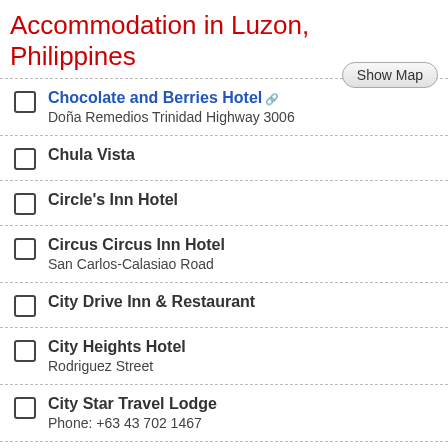Accommodation in Luzon, Philippines
Chocolate and Berries Hotel
Doña Remedios Trinidad Highway 3006
Chula Vista
Circle's Inn Hotel
Circus Circus Inn Hotel
San Carlos-Calasiao Road
City Drive Inn & Restaurant
City Heights Hotel
Rodriguez Street
City Star Travel Lodge
Phone: +63 43 702 1467
Clixs Hotel
Annapolis Quezon City
Cockers Inn